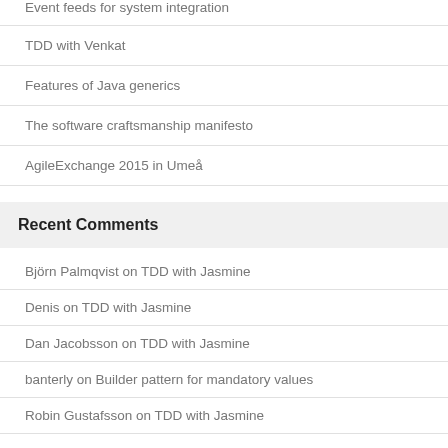Event feeds for system integration
TDD with Venkat
Features of Java generics
The software craftsmanship manifesto
AgileExchange 2015 in Umeå
Recent Comments
Björn Palmqvist on TDD with Jasmine
Denis on TDD with Jasmine
Dan Jacobsson on TDD with Jasmine
banterly on Builder pattern for mandatory values
Robin Gustafsson on TDD with Jasmine
Archives